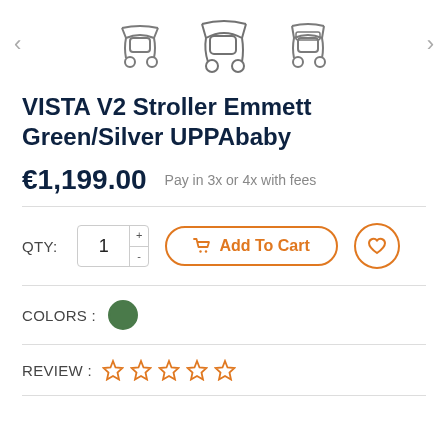[Figure (photo): Product thumbnail carousel showing three stroller thumbnail images with left and right navigation arrows]
VISTA V2 Stroller Emmett Green/Silver UPPAbaby
€1,199.00   Pay in 3x or 4x with fees
QTY: 1  Add To Cart
COLORS :
REVIEW :